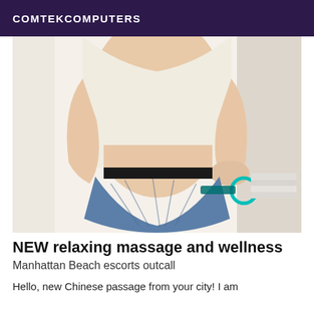COMTEKCOMPUTERS
[Figure (photo): Photo of a person wearing a cream/white long-sleeve top and denim cut-off shorts, showing midriff area, with a small teal icon overlay on the shorts. Indoor setting with white background.]
NEW relaxing massage and wellness
Manhattan Beach escorts outcall
Hello, new Chinese passage from your city! I am